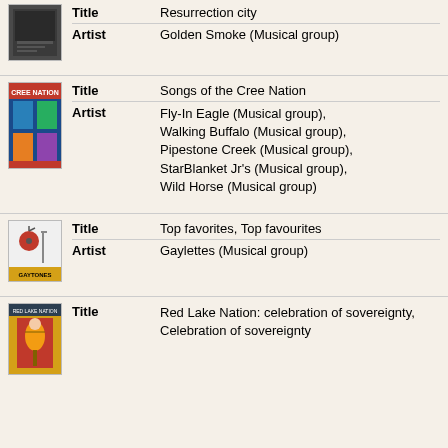| Field | Value |
| --- | --- |
| Title | Resurrection city |
| Artist | Golden Smoke (Musical group) |
| Field | Value |
| --- | --- |
| Title | Songs of the Cree Nation |
| Artist | Fly-In Eagle (Musical group), Walking Buffalo (Musical group), Pipestone Creek (Musical group), StarBlanket Jr's (Musical group), Wild Horse (Musical group) |
| Field | Value |
| --- | --- |
| Title | Top favorites, Top favourites |
| Artist | Gaylettes (Musical group) |
| Field | Value |
| --- | --- |
| Title | Red Lake Nation: celebration of sovereignty, Celebration of sovereignty |